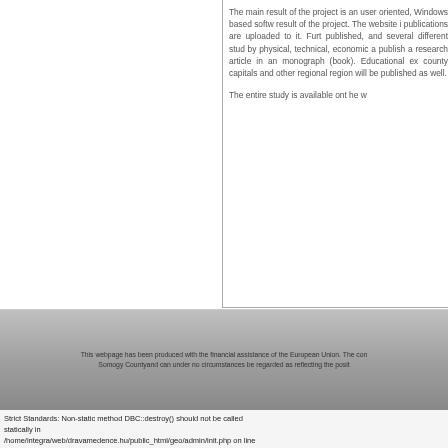The main result of the project is an user oriented, Windows based software result of the project. The website is publications are uploaded to it. Furth published, and several different stud by physical, technical, economic a publish a research article in an monograph (book). Educational ex county capitals and other regional region will be published as well. The entire study is available ont he w
This webpage has been produced with the financial assistance of the European Union. The con Somogy Countyand can under no circumstances be regarded as reflecting the posit
Strict Standards: Non-static method DBC::destroy() should not be called statically in /home/integra/web/dravamedence.hu/public_html/geo/admin/init.php on line 85